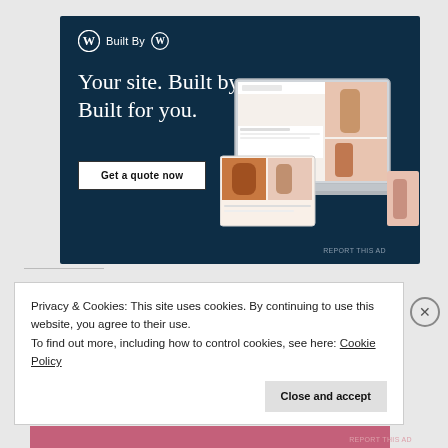[Figure (screenshot): WordPress 'Built By' advertisement banner with dark navy background. Shows 'Built By' with WordPress W logo, headline 'Your site. Built by us. Built for you.', a 'Get a quote now' button, and a laptop mockup showing a website with fashion/portrait photos.]
REPORT THIS AD
Privacy & Cookies: This site uses cookies. By continuing to use this website, you agree to their use.
To find out more, including how to control cookies, see here: Cookie Policy
Close and accept